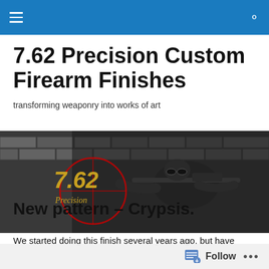Navigation bar with hamburger menu and search icon
7.62 Precision Custom Firearm Finishes
transforming weaponry into works of art
[Figure (photo): Hero banner image showing a tactical sniper in dark gear aiming a rifle against a brick wall background, with the 7.62 Precision logo overlay on the left side featuring yellow/green numerals and a red crosshair circle]
New pattern – Crypsis.
We started doing this finish several years ago, but have
Follow ...